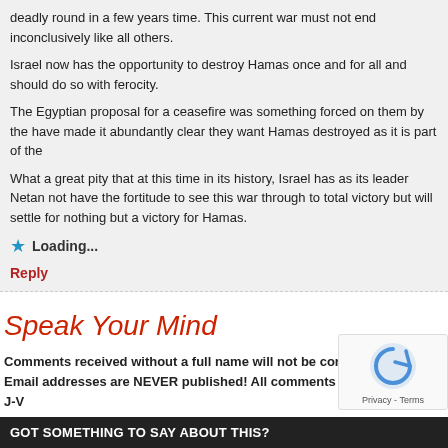deadly round in a few years time. This current war must not end inconclusively like all others.
Israel now has the opportunity to destroy Hamas once and for all and should do so with ferocity.
The Egyptian proposal for a ceasefire was something forced on them by the have made it abundantly clear they want Hamas destroyed as it is part of the
What a great pity that at this time in its history, Israel has as its leader Netan not have the fortitude to see this war through to total victory but will settle for nothing but a victory for Hamas.
Loading...
Reply
Speak Your Mind
Comments received without a full name will not be considered Email addresses are NEVER published! All comments are moderated. J-V considered comments by people who provide a real name an are abusive, rude, defamatory or which contain offensive lang
GOT SOMETHING TO SAY ABOUT THIS?